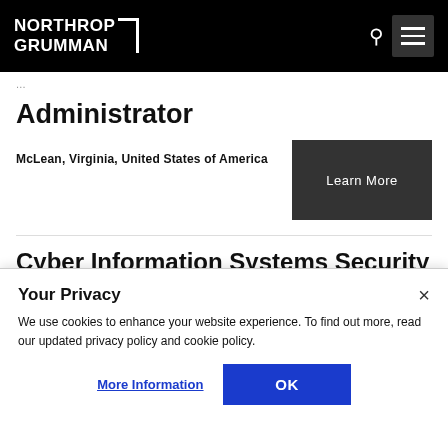Northrop Grumman
Administrator
McLean, Virginia, United States of America
Cyber Information Systems Security
Your Privacy
We use cookies to enhance your website experience. To find out more, read our updated privacy policy and cookie policy.
More Information  OK